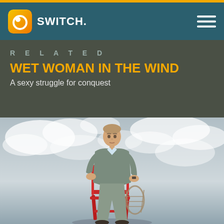SWITCH.
RELATED
WET WOMAN IN THE WIND
A sexy struggle for conquest
[Figure (photo): A man in a grey suit and light blue shirt sits on a red ladder/chair structure against a cloudy sky background, looking directly at the camera with a serious expression.]